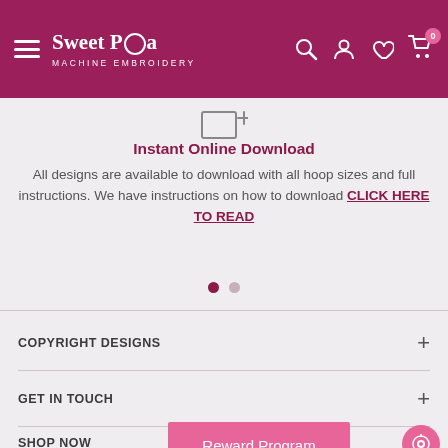[Figure (logo): Sweet Poa Machine Embroidery logo with hamburger menu, search, account, heart, and cart icons on dark pink/crimson header bar]
[Figure (illustration): Download icon (image with plus sign)]
Instant Online Download
All designs are available to download with all hoop sizes and full instructions. We have instructions on how to download CLICK HERE TO READ
COPYRIGHT DESIGNS
GET IN TOUCH
SHOP NOW
Reward Program